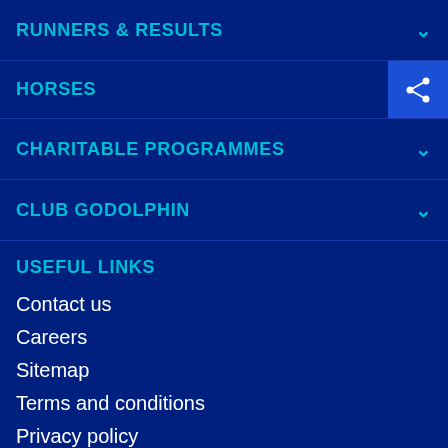RUNNERS & RESULTS
HORSES
CHARITABLE PROGRAMMES
CLUB GODOLPHIN
USEFUL LINKS
Contact us
Careers
Sitemap
Terms and conditions
Privacy policy
Cookie policy